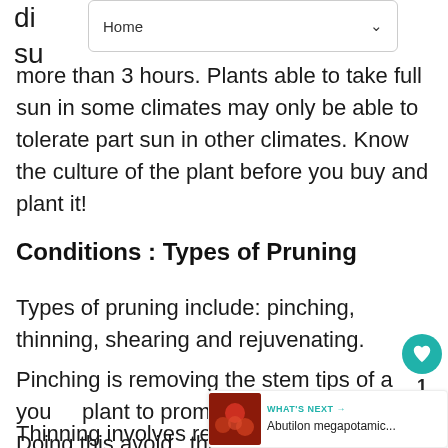[Figure (screenshot): Navigation bar UI element with 'Home' label and dropdown arrow]
direct sunlight for more than 3 hours. Plants able to take full sun in some climates may only be able to tolerate part sun in other climates. Know the culture of the plant before you buy and plant it!
Conditions : Types of Pruning
Types of pruning include: pinching, thinning, shearing and rejuvenating.
Pinching is removing the stem tips of a young plant to promote branching. Doing this avoids the need for more severe pruning later.
Thinning involves removing whole branches
[Figure (other): WHAT'S NEXT panel with Abutilon megapotamic... thumbnail and teal arrow]
[Figure (other): Teal heart/favorite button and share icon with count 1]